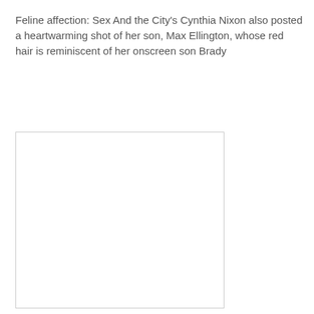Feline affection: Sex And the City's Cynthia Nixon also posted a heartwarming shot of her son, Max Ellington, whose red hair is reminiscent of her onscreen son Brady
[Figure (photo): A photograph placeholder shown as a white rectangle with a light grey border, no visible image content.]